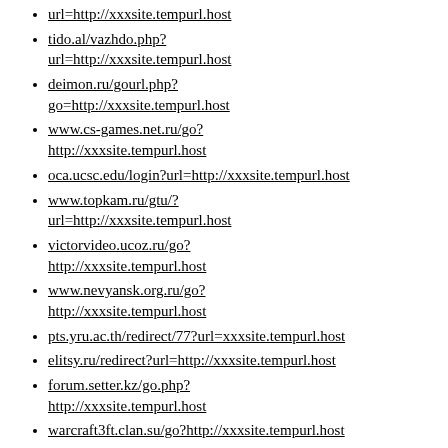url=http://xxxsite.tempurl.host
tido.al/vazhdo.php?url=http://xxxsite.tempurl.host
deimon.ru/gourl.php?go=http://xxxsite.tempurl.host
www.cs-games.net.ru/go?http://xxxsite.tempurl.host
oca.ucsc.edu/login?url=http://xxxsite.tempurl.host
www.topkam.ru/gtu/?url=http://xxxsite.tempurl.host
victorvideo.ucoz.ru/go?http://xxxsite.tempurl.host
www.nevyansk.org.ru/go?http://xxxsite.tempurl.host
pts.yru.ac.th/redirect/77?url=xxxsite.tempurl.host
elitsy.ru/redirect?url=http://xxxsite.tempurl.host
forum.setter.kz/go.php?http://xxxsite.tempurl.host
warcraft3ft.clan.su/go?http://xxxsite.tempurl.host